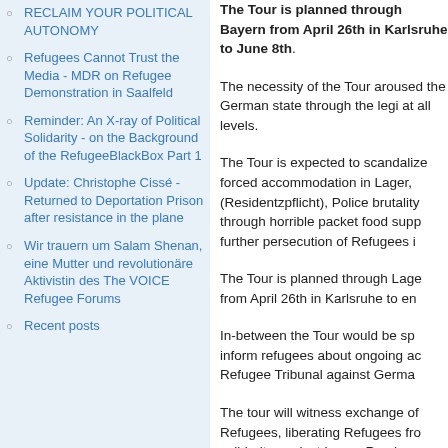RECLAIM YOUR POLITICAL AUTONOMY
Refugees Cannot Trust the Media - MDR on Refugee Demonstration in Saalfeld
Reminder: An X-ray of Political Solidarity - on the Background of the RefugeeBlackBox Part 1
Update: Christophe Cissé - Returned to Deportation Prison after resistance in the plane
Wir trauern um Salam Shenan, eine Mutter und revolutionäre Aktivistin des The VOICE Refugee Forums
Recent posts
The Tour is planned through Bayern from April 26th in Karlsruhe to June 8th.
The necessity of the Tour aroused the German state through the legi at all levels.
The Tour is expected to scandalize forced accommodation in Lager, (Residentzpflicht), Police brutality through horrible packet food supp further persecution of Refugees i
The Tour is planned through Lage from April 26th in Karlsruhe to en
In-between the Tour would be sp inform refugees about ongoing ac Refugee Tribunal against Germa
The tour will witness exchange of Refugees, liberating Refugees fro solidarity against Lager, Resde